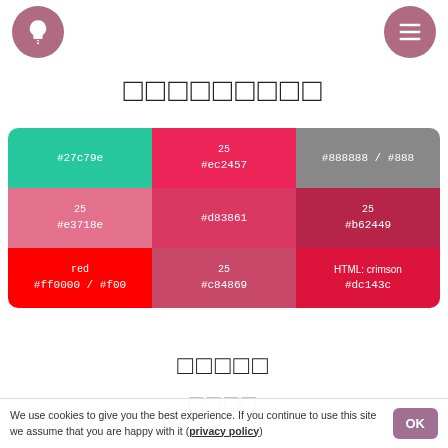[lightbulb icon] [menu icon]
□□□□□□□□□
[Figure (infographic): Color palette grid showing 9 color swatches in a 3x3 layout. Row 1: #27c79e (green), #ec2457 (crimson, labeled 25), #888888/#888 (gray). Row 2: #e3718e (pink, labeled 25), #d83861 (mauve), #b62449 (dark red, labeled 25). Row 3: red / #ff0000/#f00, #c84869 (gray-rose, labeled 25), HTML: crimson / #dc143c.]
□□□□□
□□□□
We use cookies to give you the best experience. If you continue to use this site we assume that you are happy with it (privacy policy)